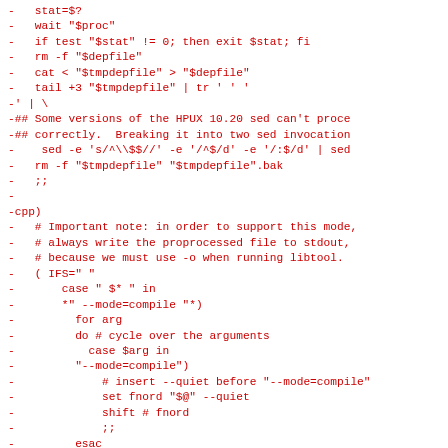-   stat=$?
-   wait "$proc"
-   if test "$stat" != 0; then exit $stat; fi
-   rm -f "$depfile"
-   cat < "$tmpdepfile" > "$depfile"
-   tail +3 "$tmpdepfile" | tr ' ' '
-' | \
-## Some versions of the HPUX 10.20 sed can't proce
-## correctly.  Breaking it into two sed invocation
-    sed -e 's/^\$$//' -e '/^$/d' -e '/:$/d' | sed
-   rm -f "$tmpdepfile" "$tmpdepfile".bak
-   ;;
-
-cpp)
-   # Important note: in order to support this mode,
-   # always write the proprocessed file to stdout,
-   # because we must use -o when running libtool.
-   ( IFS=" "
-       case " $* " in
-       *" --mode=compile "*)
-         for arg
-         do # cycle over the arguments
-           case $arg in
-         "--mode=compile")
-             # insert --quiet before "--mode=compile"
-             set fnord "$@" --quiet
-             shift # fnord
-             ;;
-         esac
-         set fnord "$@" "$arg"
-           shift # fnord